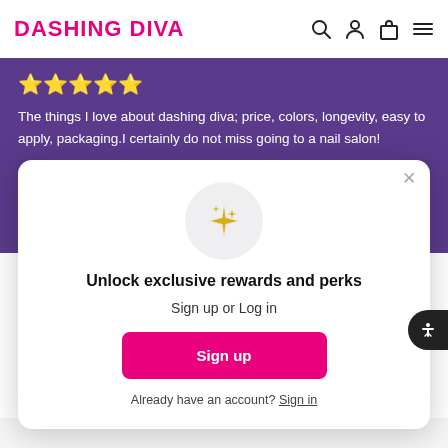DASHING DIVA
The things I love about dashing diva; price, colors, longevity, easy to apply, packaging.I certainly do not miss going to a nail salon!
[Figure (screenshot): Modal popup with sparkle star icon, 'Unlock exclusive rewards and perks' heading, Sign up or Log in subtext, pink Sign up button, and Already have an account? Sign in link]
Unlock exclusive rewards and perks
Sign up or Log in
Sign up
Already have an account? Sign in